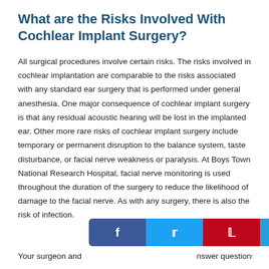What are the Risks Involved With Cochlear Implant Surgery?
All surgical procedures involve certain risks. The risks involved in cochlear implantation are comparable to the risks associated with any standard ear surgery that is performed under general anesthesia. One major consequence of cochlear implant surgery is that any residual acoustic hearing will be lost in the implanted ear. Other more rare risks of cochlear implant surgery include temporary or permanent disruption to the balance system, taste disturbance, or facial nerve weakness or paralysis. At Boys Town National Research Hospital, facial nerve monitoring is used throughout the duration of the surgery to reduce the likelihood of damage to the facial nerve. As with any surgery, there is also the risk of infection.
Your surgeon and ... nswer questions